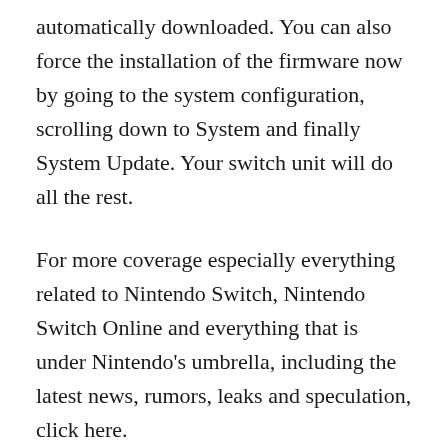automatically downloaded. You can also force the installation of the firmware now by going to the system configuration, scrolling down to System and finally System Update. Your switch unit will do all the rest.
For more coverage especially everything related to Nintendo Switch, Nintendo Switch Online and everything that is under Nintendo’s umbrella, including the latest news, rumors, leaks and speculation, click here.
As always, feel free to leave a comment or two to let us know what you think or, alternatively, contact me on Twitter. Tyler Fischer To talk about everything related to games.